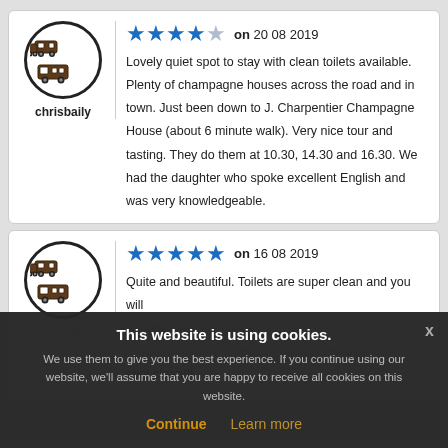[Figure (illustration): User avatar circle with caravan/motorhome icons for chrisbaily]
chrisbaily
[Figure (other): 4 out of 5 blue stars rating]
on 20 08 2019
Lovely quiet spot to stay with clean toilets available. Plenty of champagne houses across the road and in town. Just been down to J. Charpentier Champagne House (about 6 minute walk). Very nice tour and tasting. They do them at 10.30, 14.30 and 16.30. We had the daughter who spoke excellent English and was very knowledgeable.
[Figure (illustration): User avatar circle with caravan/motorhome icons for JenniferR]
JenniferR
[Figure (other): 5 out of 5 blue stars rating]
on 16 08 2019
Quite and beautiful. Toilets are super clean and you will ... public and the lamps ... spot clean!!!
This website is using cookies. We use them to give you the best experience. If you continue using our website, we'll assume that you are happy to receive all cookies on this website.
Continue   Learn more